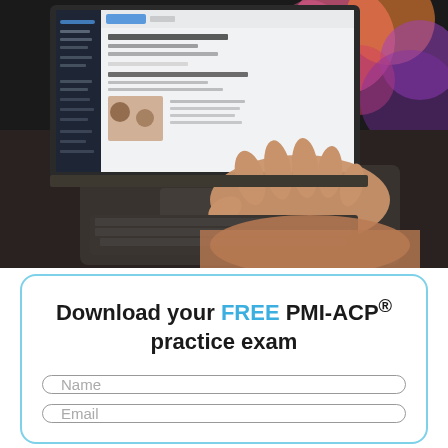[Figure (photo): A person typing on a laptop keyboard. The laptop screen shows a blog post editor interface with an image of coffee cups. Colorful bokeh lights visible in the background. Close-up shot focusing on the hand and keyboard.]
Download your FREE PMI-ACP® practice exam
Name
Email